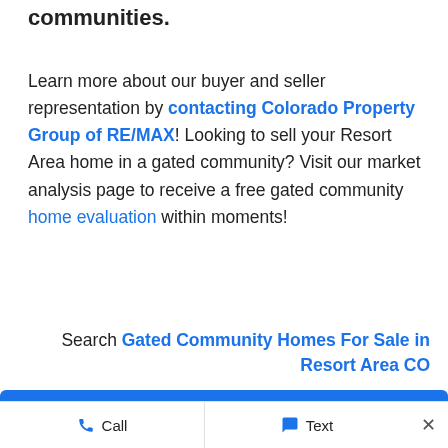communities.
Learn more about our buyer and seller representation by contacting Colorado Property Group of RE/MAX! Looking to sell your Resort Area home in a gated community? Visit our market analysis page to receive a free gated community home evaluation within moments!
Search Gated Community Homes For Sale in Resort Area CO
Back to Resort Area Homes For Sale
Call  Text  ×